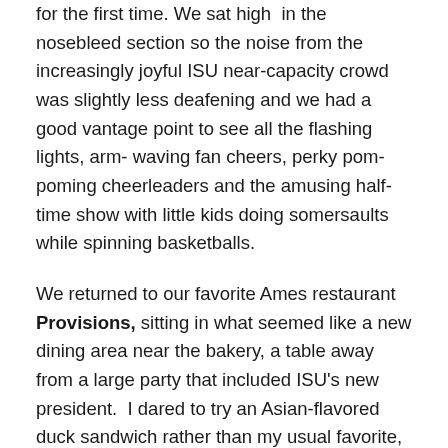for the first time. We sat high in the nosebleed section so the noise from the increasingly joyful ISU near-capacity crowd was slightly less deafening and we had a good vantage point to see all the flashing lights, arm- waving fan cheers, perky pom-poming cheerleaders and the amusing half-time show with little kids doing somersaults while spinning basketballs.
We returned to our favorite Ames restaurant Provisions, sitting in what seemed like a new dining area near the bakery, a table away from a large party that included ISU’s new president. I dared to try an Asian-flavored duck sandwich rather than my usual favorite, the salmon sandwich. The “five-spice” roasted duck was good –served pulled pork style with crispy bits, plum sauce and scallions in the same thick dark black brioche roll that makes the